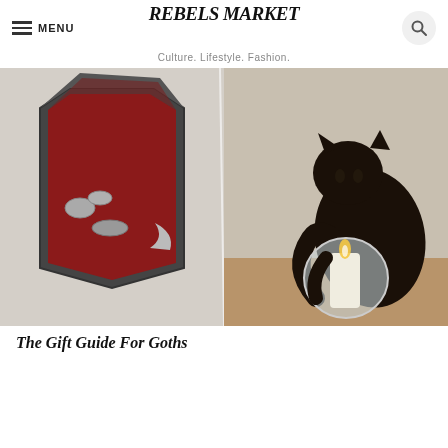REBELS MARKET — Culture. Lifestyle. Fashion.
[Figure (photo): Two-panel hero image: left panel shows an open coffin-shaped jewelry box with red velvet interior filled with silver gothic rings and jewelry on a white fur background; right panel shows a dark ceramic black cat figurine holding a glass globe candle holder with a lit white candle on a wooden surface.]
The Gift Guide For Goths